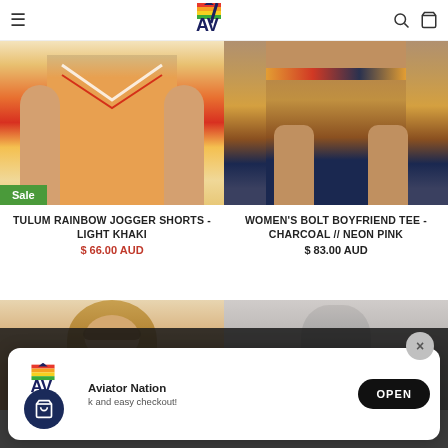Aviator Nation - navigation header with hamburger menu, logo, search and cart icons
[Figure (photo): Product photo showing Tulum Rainbow Jogger Shorts in Light Khaki with Sale badge]
TULUM RAINBOW JOGGER SHORTS - LIGHT KHAKI
$ 66.00 AUD
[Figure (photo): Product photo showing Women's Bolt Boyfriend Tee in Charcoal / Neon Pink]
WOMEN'S BOLT BOYFRIEND TEE - CHARCOAL // NEON PINK
$ 83.00 AUD
[Figure (photo): Product photo showing a woman model with sunglasses (partial view)]
[Figure (photo): Product photo showing a grey item (partial view)]
[Figure (screenshot): App install popup: Aviator Nation logo, brand name, quick and easy checkout text, OPEN button, close X button]